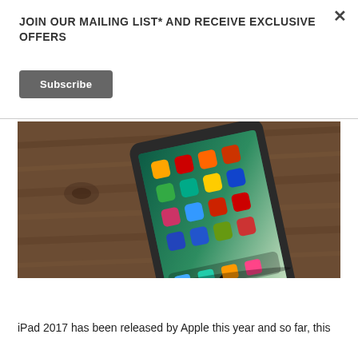JOIN OUR MAILING LIST* AND RECEIVE EXCLUSIVE OFFERS
Subscribe
[Figure (photo): iPad 2017 placed diagonally on a wooden table surface, showing home screen with colorful app icons on a teal/green wallpaper background]
iPad 2017 has been released by Apple this year and so far, this